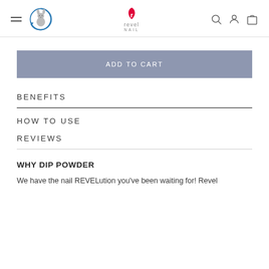Revel Nail website header with hamburger menu, cruelty-free logo, Revel Nail logo, search, account, and cart icons
ADD TO CART
BENEFITS
HOW TO USE
REVIEWS
WHY DIP POWDER
We have the nail REVELution you've been waiting for! Revel